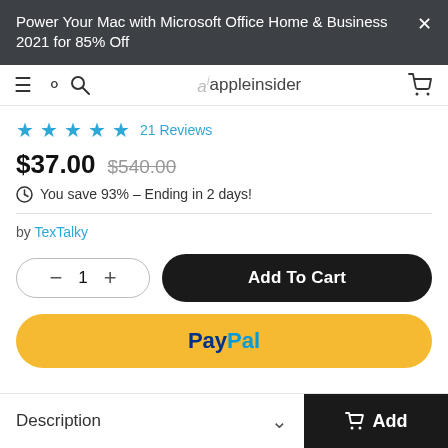Power Your Mac with Microsoft Office Home & Business 2021 for 85% Off
appleinsider
21 Reviews
$37.00  $540.00  You save 93% – Ending in 2 days!
by TexTalky
1  Add To Cart
PayPal
Description
Add